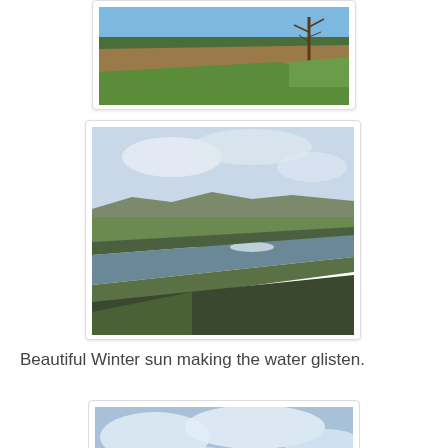[Figure (photo): Aerial/ground-level view of a flat agricultural field with brown plowed earth and green grass strip, a bare tree visible on the right, under blue sky]
[Figure (photo): Wide landscape photo of a river or drainage channel cutting through green meadows and fields, with hilly background, under a pale sky with clouds, sunlight glinting on the water]
Beautiful Winter sun making the water glisten.
[Figure (photo): Partial view of a landscape photo with cloudy sky, partially visible at the bottom of the page]